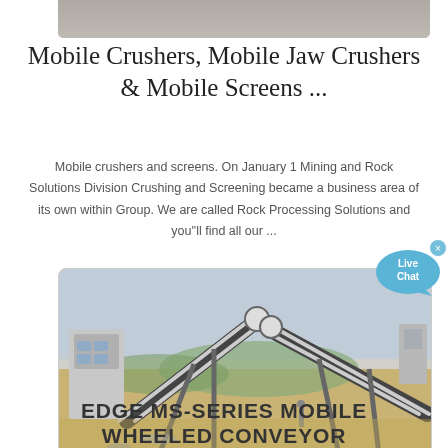[Figure (photo): Partial top of an industrial crusher/screening machinery photo, gray tones]
Mobile Crushers, Mobile Jaw Crushers & Mobile Screens ...
Mobile crushers and screens. On January 1 Mining and Rock Solutions Division Crushing and Screening became a business area of its own within Group. We are called Rock Processing Solutions and you''ll find all our ...
[Figure (photo): Industrial mobile conveyor belt system at a quarry or mining site, with large belt conveyors crossing at angles over sandy ground, machinery in background]
EDGE MS-SERIES MOBILE WHEELED CONVEYOR